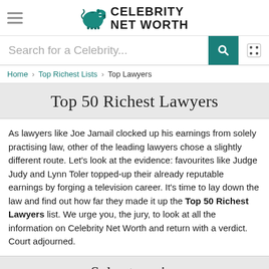Celebrity Net Worth
Search for a Celebrity...
Home › Top Richest Lists › Top Lawyers
Top 50 Richest Lawyers
As lawyers like Joe Jamail clocked up his earnings from solely practising law, other of the leading lawyers chose a slightly different route. Let's look at the evidence: favourites like Judge Judy and Lynn Toler topped-up their already reputable earnings by forging a television career. It's time to lay down the law and find out how far they made it up the Top 50 Richest Lawyers list. We urge you, the jury, to look at all the information on Celebrity Net Worth and return with a verdict. Court adjourned.
Subcategories
CEOs | Companies | Criminals | Designers | Executives | Lawyers | Producers | Richest Billionaires | Wall Street